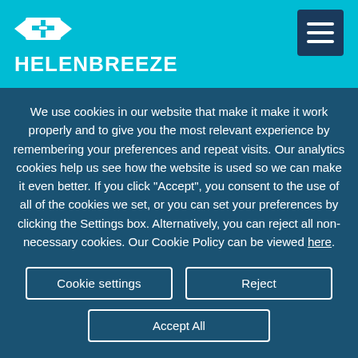[Figure (logo): Helenbreeze logo with compass-like icon and text HELENBREEZE on cyan background]
We use cookies in our website that make it make it work properly and to give you the most relevant experience by remembering your preferences and repeat visits. Our analytics cookies help us see how the website is used so we can make it even better. If you click "Accept", you consent to the use of all of the cookies we set, or you can set your preferences by clicking the Settings box. Alternatively, you can reject all non-necessary cookies. Our Cookie Policy can be viewed here.
Cookie settings
Reject
Accept All